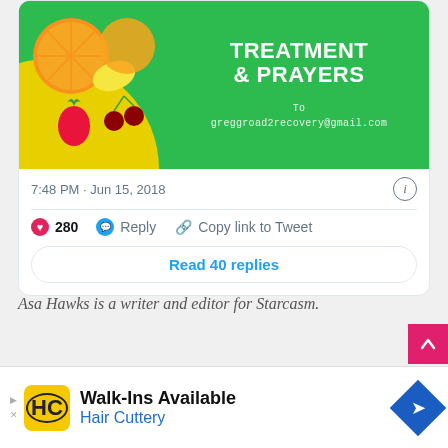[Figure (screenshot): Tweet card showing a green promotional image with fruits, text 'TREATMENT & PRAYERS' and email greggroad2recovery@gmail.com, with timestamp 7:48 PM · Jun 15, 2018, 280 likes, Reply, Copy link to Tweet actions, and Read 40 replies button]
Asa Hawks is a writer and editor for Starcasm.
[Figure (infographic): Walk-Ins Available Hair Cuttery advertisement with yellow/black logo and blue navigation arrow icon]